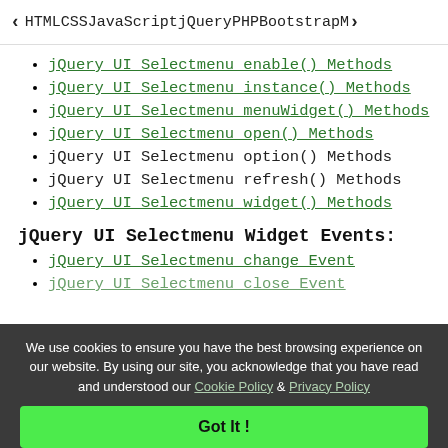< HTML   CSS   JavaScript   jQuery   PHP   Bootstrap   M>
jQuery UI Selectmenu enable() Methods
jQuery UI Selectmenu instance() Methods
jQuery UI Selectmenu menuWidget() Methods
jQuery UI Selectmenu open() Methods
jQuery UI Selectmenu option() Methods
jQuery UI Selectmenu refresh() Methods
jQuery UI Selectmenu widget() Methods
jQuery UI Selectmenu Widget Events:
jQuery UI Selectmenu change Event
jQuery UI Selectmenu close Event
We use cookies to ensure you have the best browsing experience on our website. By using our site, you acknowledge that you have read and understood our Cookie Policy & Privacy Policy
Got It !